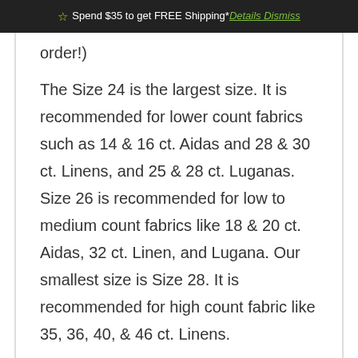☆ Spend $35 to get FREE Shipping* Details Dismiss
order!)
The Size 24 is the largest size. It is recommended for lower count fabrics such as 14 & 16 ct. Aidas and 28 & 30 ct. Linens, and 25 & 28 ct. Luganas. Size 26 is recommended for low to medium count fabrics like 18 & 20 ct. Aidas, 32 ct. Linen, and Lugana. Our smallest size is Size 28. It is recommended for high count fabric like 35, 36, 40, & 46 ct. Linens.
Ball-Tip Needles
Navigate your needle easily through Aida